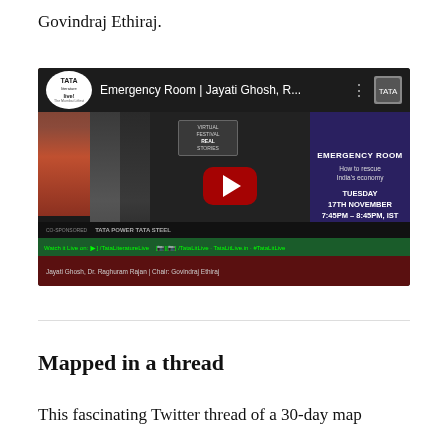Govindraj Ethiraj.
[Figure (screenshot): YouTube video thumbnail for 'Emergency Room | Jayati Ghosh, R...' from Tata Literature Live channel, showing three speakers, a YouTube play button, and an event banner for Emergency Room: How to rescue India's economy, Tuesday 17th November 7:45PM - 8:45PM IST. Green bar at bottom with social media links, red bar with speaker names.]
Mapped in a thread
This fascinating Twitter thread of a 30-day map